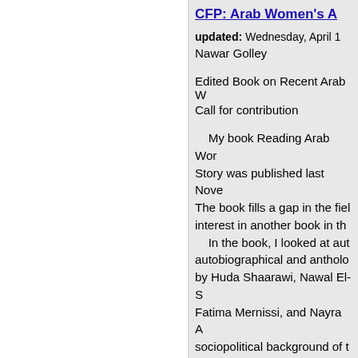CFP: Arab Women's A
updated: Wednesday, April 1
Nawar Golley
Edited Book on Recent Arab W
Call for contribution
My book Reading Arab Wor Story was published last Nove The book fills a gap in the fiel interest in another book in th In the book, I looked at aut autobiographical and antho by Huda Shaarawi, Nawal El-S Fatima Mernissi, and Nayra A sociopolitical background of t narrative theory.